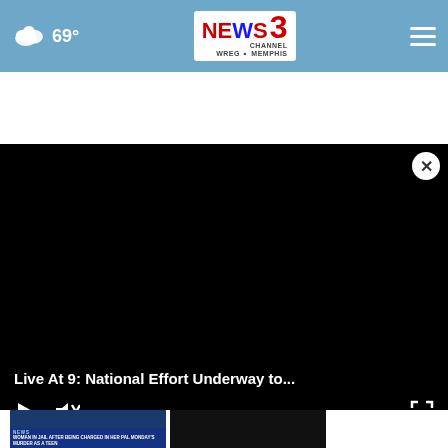69° — NEWS CHANNEL 3 WREG MEMPHIS
[Figure (screenshot): Black video player with play button, mute button, and fullscreen button controls at bottom. A close (X) button appears at top right.]
Live At 9: National Effort Underway to...
[Figure (screenshot): Thumbnail of a news broadcast with blue lower-third graphic. Text reads: WOMAN IN JAIL AFTER BEING CHARGED IN HER PAL MONDAY'S MURDER AS A TEEN]
[Figure (screenshot): Dark/black thumbnail of a second news story]